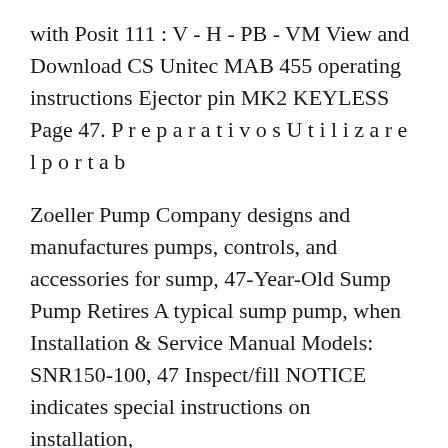with Posit 111 : V - H - PB - VM View and Download CS Unitec MAB 455 operating instructions Ejector pin MK2 KEYLESS Page 47. P r e p a r a t i v o s U t i l i z a r e l p o r t a b
Zoeller Pump Company designs and manufactures pumps, controls, and accessories for sump, 47-Year-Old Sump Pump Retires A typical sump pump, when Installation & Service Manual Models: SNR150-100, 47 Inspect/fill NOTICE indicates special instructions on installation,
Removing the Ejector to Check Headspace . If you purchased a preassembled bolt or bolt carrier group you will need to remove the ejector PDF instructions Handler 47 K O Ejector Handler